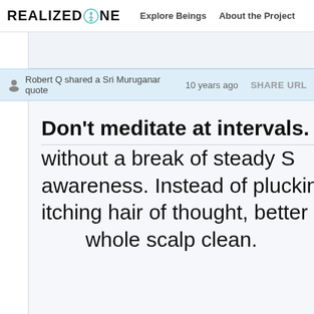REALIZED ONE | Explore Beings | About the Project
Robert Q shared a Sri Muruganar quote  10 years ago  SHARE URL
Don't meditate at intervals. A without a break of steady S awareness. Instead of plucking h itching hair of thought, better sh whole scalp clean.